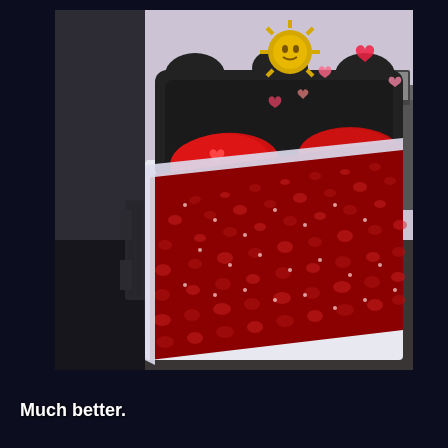[Figure (screenshot): A 3D rendered bedroom scene from a video game (likely The Sims). Shows a bed with a black headboard decorated with heart motifs, covered in a dark red/crimson patterned bedspread with lighter heart and dot patterns. Red pillows are on the bed. A golden sun face decoration is visible on the wall above the headboard. A nightstand is to the right. A radiator/heater is on the left wall. The room has dark carpet and light lavender-gray walls. Pink/red hearts are floating in the air above the bed.]
Much better.